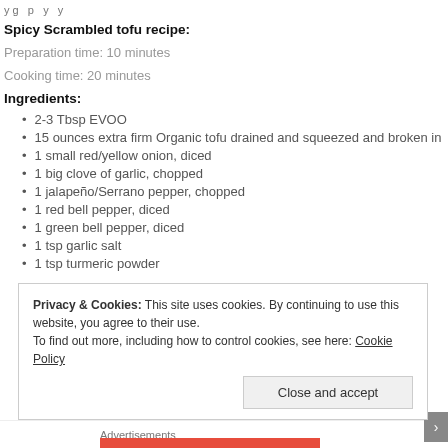y g p y y
Spicy Scrambled tofu recipe:
Preparation time: 10 minutes
Cooking time: 20 minutes
Ingredients:
2-3 Tbsp EVOO
15 ounces extra firm Organic tofu drained and squeezed and broken in
1 small red/yellow onion, diced
1 big clove of garlic, chopped
1 jalapeño/Serrano pepper, chopped
1 red bell pepper, diced
1 green bell pepper, diced
1 tsp garlic salt
1 tsp turmeric powder
Privacy & Cookies: This site uses cookies. By continuing to use this website, you agree to their use. To find out more, including how to control cookies, see here: Cookie Policy
Close and accept
Advertisements